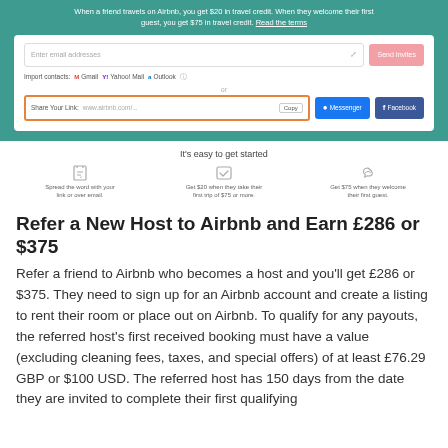When a friend travels on Airbnb, you get $20 in travel credit. When they welcome their first guest, you get $75 in travel credit. Read the terms
[Figure (screenshot): Airbnb referral interface with email input field, Send Invites button, Import contacts row (Gmail, Yahoo! Mail, Outlook), OR divider, Share Your Link box with www.airbnb.com/... URL and Copy button, Messenger button, Facebook button]
It's easy to get started
Spread the word with your link or over email.
Get $20 when they take their first trip of $75 or more.
Get $75 when they welcome their first guest.
Refer a New Host to Airbnb and Earn £286 or $375
Refer a friend to Airbnb who becomes a host and you'll get £286 or $375. They need to sign up for an Airbnb account and create a listing to rent their room or place out on Airbnb. To qualify for any payouts, the referred host's first received booking must have a value (excluding cleaning fees, taxes, and special offers) of at least £76.29 GBP or $100 USD. The referred host has 150 days from the date they are invited to complete their first qualifying